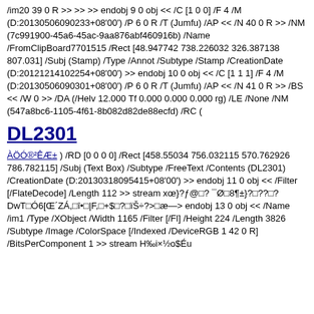/im20 39 0 R >> >> >> endobj 9 0 obj << /C [1 0 0] /F 4 /M (D:20130506090233+08'00') /P 6 0 R /T (Jumfu) /AP << /N 40 0 R >> /NM (7c991900-45a6-45ac-9aa876abf460916b) /Name /FromClipBoard7701515 /Rect [48.947742 738.226032 326.387138 807.031] /Subj (Stamp) /Type /Annot /Subtype /Stamp /CreationDate (D:20121214102254+08'00') >> endobj 10 0 obj << /C [1 1 1] /F 4 /M (D:20130506090301+08'00') /P 6 0 R /T (Jumfu) /AP << /N 41 0 R >> /BS << /W 0 >> /DA (/Helv 12.000 Tf 0.000 0.000 0.000 rg) /LE /None /NM (547a8bc6-1105-4f61-8b082d82de88ecfd) /RC (
DL2301
ÀÖÓ®²ÊÆ± ) /RD [0 0 0 0] /Rect [458.55034 756.032115 570.762926 786.782115] /Subj (Text Box) /Subtype /FreeText /Contents (DL2301) /CreationDate (D:20130318095415+08'00') >> endobj 11 0 obj << /Filter [/FlateDecode] /Length 112 >> stream xœ}?ƒ@□? ¯Ø□8¶±}?□??□? DwT□Ó6[Œ´ZÁ,□î•□|F,□+$□?□ïŠ÷?>□æ—> endobj 13 0 obj << /Name /im1 /Type /XObject /Width 1165 /Filter [/Fl] /Height 224 /Length 3826 /Subtype /Image /ColorSpace [/Indexed /DeviceRGB 1 42 0 R] /BitsPerComponent 1 >> stream H‰i×½o$Éu